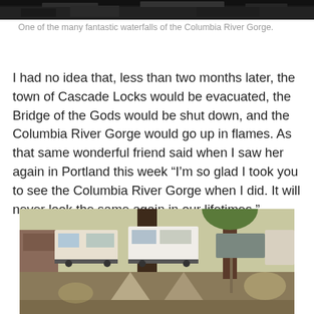[Figure (photo): Top portion of a photo showing dark rocky or forested scene, likely a waterfall area in the Columbia River Gorge]
One of the many fantastic waterfalls of the Columbia River Gorge.
I had no idea that, less than two months later, the town of Cascade Locks would be evacuated, the Bridge of the Gods would be shut down, and the Columbia River Gorge would go up in flames. As that same wonderful friend said when I saw her again in Portland this week “I’m so glad I took you to see the Columbia River Gorge when I did. It will never look the same again in our lifetimes.”
[Figure (photo): A campsite with a tan/beige tent in the foreground, RVs and trailers in the background, under trees with dappled sunlight]